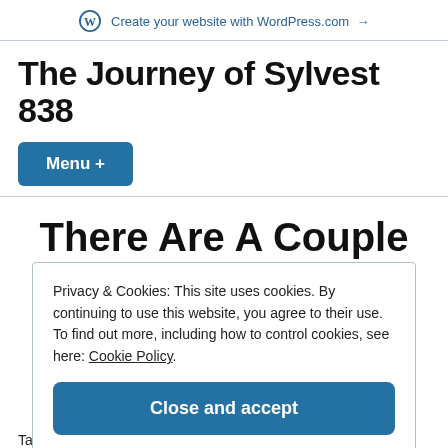Create your website with WordPress.com →
The Journey of Sylvest 838
Menu +
There Are A Couple Of
Privacy & Cookies: This site uses cookies. By continuing to use this website, you agree to their use.
To find out more, including how to control cookies, see here: Cookie Policy
Close and accept